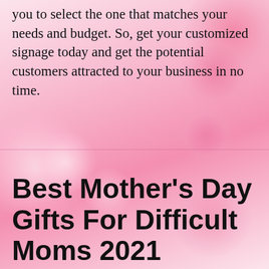you to select the one that matches your needs and budget. So, get your customized signage today and get the potential customers attracted to your business in no time.
Best Mother's Day Gifts For Difficult Moms 2021